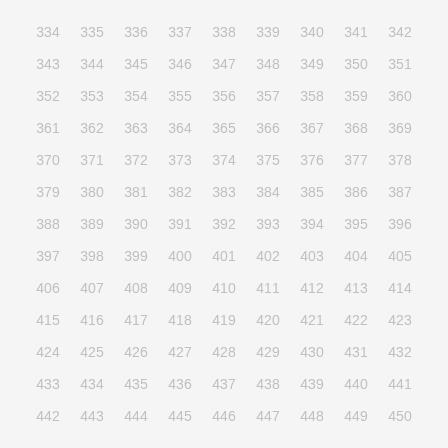334 335 336 337 338 339 340 341 342 343 344 345 346 347 348 349 350 351 352 353 354 355 356 357 358 359 360 361 362 363 364 365 366 367 368 369 370 371 372 373 374 375 376 377 378 379 380 381 382 383 384 385 386 387 388 389 390 391 392 393 394 395 396 397 398 399 400 401 402 403 404 405 406 407 408 409 410 411 412 413 414 415 416 417 418 419 420 421 422 423 424 425 426 427 428 429 430 431 432 433 434 435 436 437 438 439 440 441 442 443 444 445 446 447 448 449 450